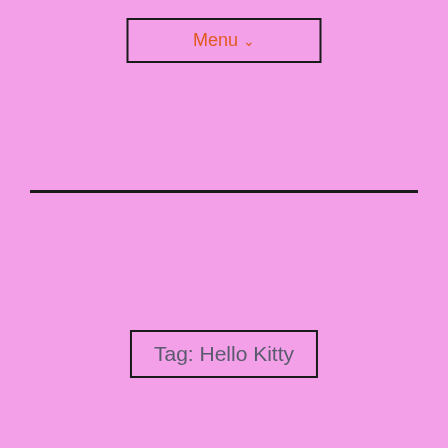Menu ∨
Tag: Hello Kitty
[Figure (photo): A colorful children's painting on white paper showing flowers, leaves and butterfly-like shapes in green, blue, and purple on a light lavender background, placed on a brown wooden surface.]